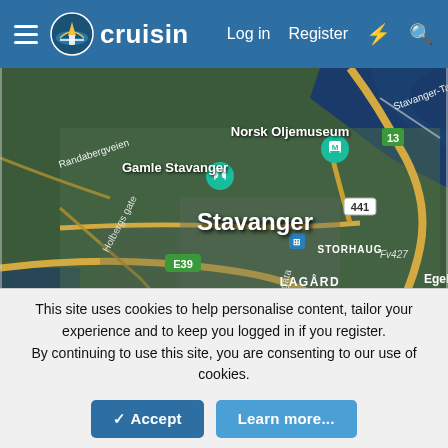cruisin | Log in | Register
[Figure (map): Satellite map of Stavanger, Norway showing Norsk Oljemuseum, Gamle Stavanger, STORHAUG, LAGÅRD, Emmausbukta, Mosvatn, roads E39, 441, 440, 44, 13, Fv427, Stavanger-Tau label, Holbergs gate, Randabergveien, Musegata road labels]
This site uses cookies to help personalise content, tailor your experience and to keep you logged in if you register.
By continuing to use this site, you are consenting to our use of cookies.
✓ Accept   Learn more...